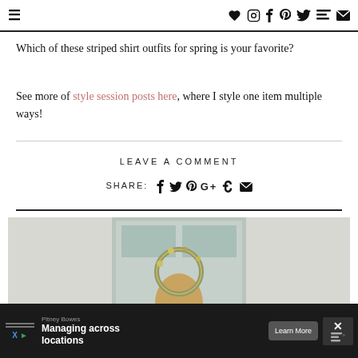≡ [nav icons: heart, instagram, facebook, pinterest, twitter, email]
Which of these striped shirt outfits for spring is your favorite?
See more of style session posts here, where I style one item multiple ways!
LEAVE A COMMENT
SHARE: [facebook] [twitter] [pinterest] [google+] [stumbleupon] [email]
[Figure (photo): Photo of a woman standing in front of a doorway holding a floral wreath, partially visible (cropped at top of head)]
Pitney Bowes Managing across locations [Learn More button]